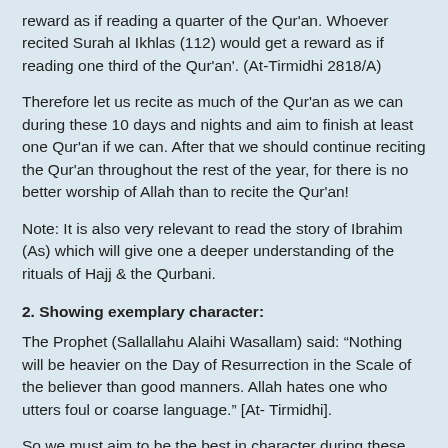reward as if reading a quarter of the Qur'an. Whoever recited Surah al Ikhlas (112) would get a reward as if reading one third of the Qur'an'. (At-Tirmidhi 2818/A)
Therefore let us recite as much of the Qur'an as we can during these 10 days and nights and aim to finish at least one Qur'an if we can. After that we should continue reciting the Qur'an throughout the rest of the year, for there is no better worship of Allah than to recite the Qur'an!
Note: It is also very relevant to read the story of Ibrahim (As) which will give one a deeper understanding of the rituals of Hajj & the Qurbani.
2. Showing exemplary character:
The Prophet (Sallallahu Alaihi Wasallam) said: “Nothing will be heavier on the Day of Resurrection in the Scale of the believer than good manners. Allah hates one who utters foul or coarse language.” [At- Tirmidhi].
So we must aim to be the best in character during these blessed days and nights and continue to do so for the rest of the year. We must not argue, swear, backbite, slander or gossip.
3. Giving much to charity:
As the rewards of doing good deeds during these days are